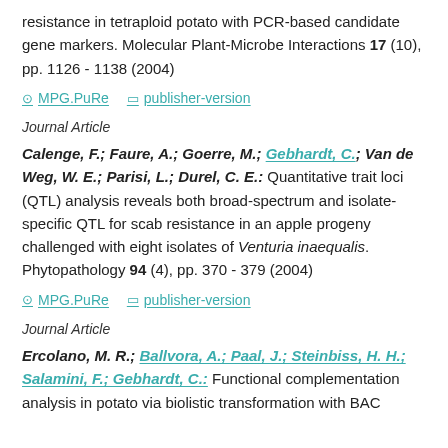resistance in tetraploid potato with PCR-based candidate gene markers. Molecular Plant-Microbe Interactions 17 (10), pp. 1126 - 1138 (2004)
MPG.PuRe   publisher-version
Journal Article
Calenge, F.; Faure, A.; Goerre, M.; Gebhardt, C.; Van de Weg, W. E.; Parisi, L.; Durel, C. E.: Quantitative trait loci (QTL) analysis reveals both broad-spectrum and isolate-specific QTL for scab resistance in an apple progeny challenged with eight isolates of Venturia inaequalis. Phytopathology 94 (4), pp. 370 - 379 (2004)
MPG.PuRe   publisher-version
Journal Article
Ercolano, M. R.; Ballvora, A.; Paal, J.; Steinbiss, H. H.; Salamini, F.; Gebhardt, C.: Functional complementation analysis in potato via biolistic transformation with BAC